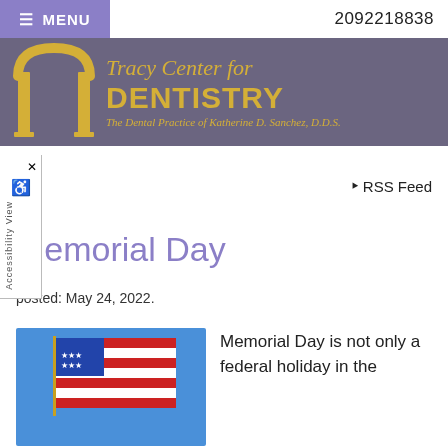☰ MENU   2092218838
[Figure (logo): Tracy Center for Dentistry logo with golden arch graphic on gray background. Text: Tracy Center for DENTISTRY, The Dental Practice of Katherine D. Sanchez, D.D.S.]
log   \ RSS Feed
Memorial Day
posted: May 24, 2022.
[Figure (photo): Close-up photo of an American flag]
Memorial Day is not only a federal holiday in the